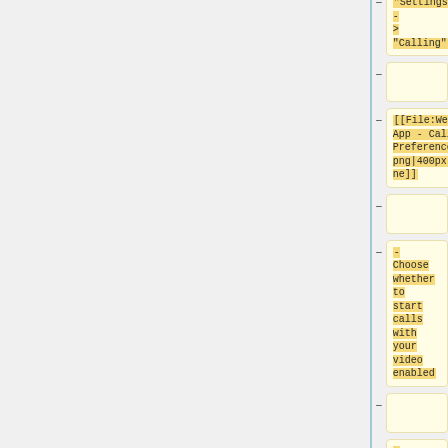"Settings" - > "Calling":
[[File:Webex App - Call Preferences.png|400px|none]]
- Choose whether to start calls with your video enabled
- Choose whether to